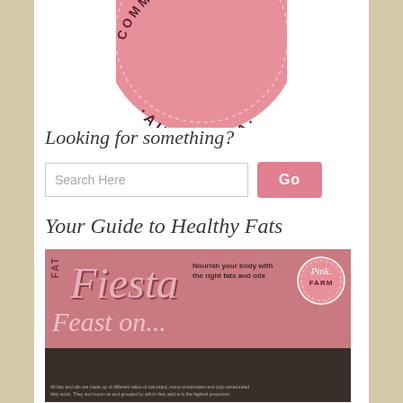[Figure (logo): Circular pink badge logo with text 'COMMUNITY AUSTRALIA' in a retro stamp style]
Looking for something?
[Figure (other): Search bar with placeholder 'Search Here' and a pink 'Go' button]
Your Guide to Healthy Fats
[Figure (infographic): Fat Fiesta infographic banner - 'Nourish your body with the right fats and oils' with Pink Farm logo, 'Feast on...' text, and small print about fatty acids at bottom]